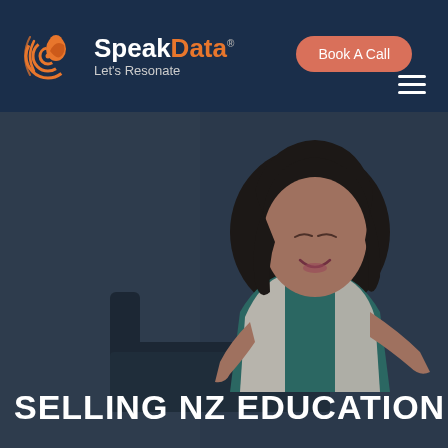[Figure (logo): SpeakData logo with orange concentric-ring head icon, white 'Speak' and orange 'Data' brand text, and grey 'Let's Resonate' tagline, on dark navy navigation bar]
Book A Call
[Figure (photo): Hero section showing a smiling Asian woman in a teal sleeveless top and white vest, seated on a dark leather chair against a dark blue-grey background]
SELLING NZ EDUCATION TO TH